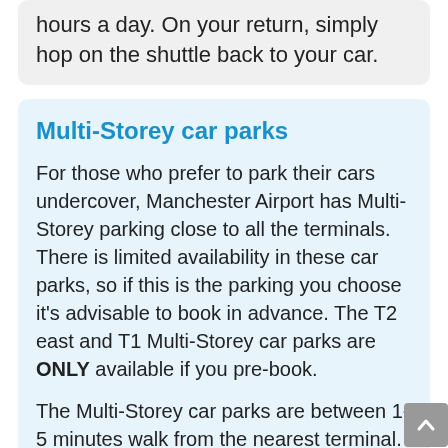hours a day. On your return, simply hop on the shuttle back to your car.
Multi-Storey car parks
For those who prefer to park their cars undercover, Manchester Airport has Multi-Storey parking close to all the terminals. There is limited availability in these car parks, so if this is the parking you choose it’s advisable to book in advance. The T2 east and T1 Multi-Storey car parks are ONLY available if you pre-book.
The Multi-Storey car parks are between 1-5 minutes walk from the nearest terminal. A free shuttle bus is also available for other terminals.